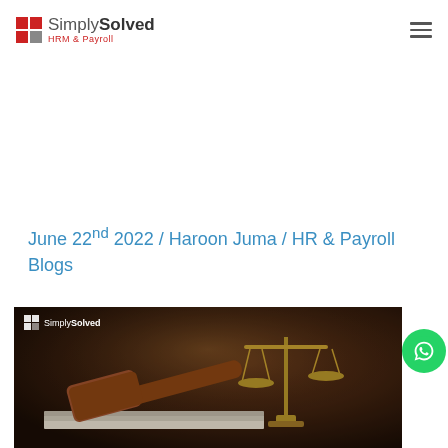SimplySolved HRM & Payroll
June 22nd 2022 / Haroon Juma / HR & Payroll Blogs
[Figure (photo): A legal/justice themed photo showing a wooden gavel resting on books with gold balance scales in the background, dark brown moody lighting, overlaid with SimplySolved logo watermark in the top-left corner]